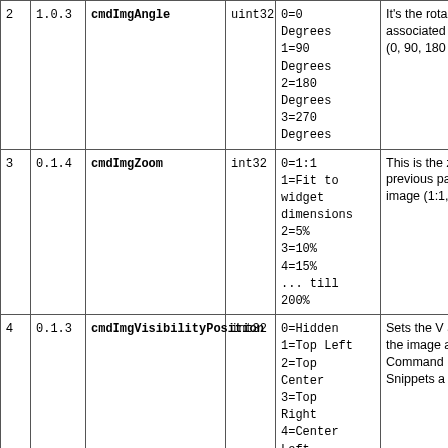| # | Version | Name | Type | Values | Description |
| --- | --- | --- | --- | --- | --- |
| 2 | 1.0.3 | cmdImgAngle | uint32 | 0=0 Degrees
1=90 Degrees
2=180 Degrees
3=270 Degrees | It's the rotation of the Image associated Command (0, 90, 180 degrees) |
| 3 | 0.1.4 | cmdImgZoom | int32 | 0=1:1
1=Fit to widget dimensions
2=5%
3=10%
4=15%
... till 200% | This is the zoom/scale previous parameter image (1:1, 5%-200%) |
| 4 | 0.1.3 | cmdImgVisibilityPosition | int32 | 0=Hidden
1=Top Left
2=Top Center
3=Top Right
4=Center Left
5=Center
6=Center Right
7=Bottom Left
8=Bottom | Sets the Visibility and Position of the image associated Command (Both for Snippets and Beecons) |